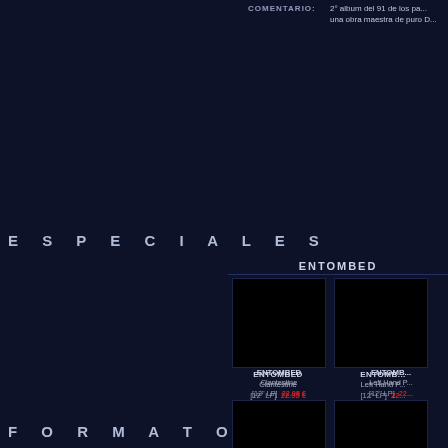COMENTARIO:  2° album del 91 de los pa... una obra maestra de puro D...
ESPECIALES
ENTOMBED
[Figure (photo): Album cover for ENTOMBED - Clantestine]
ENTOMBED
Clantestine
[12" LP]  22.95 €
[Figure (photo): Album cover for ENTOMBED - Left Hand Path]
ENTOMBED
Left Hand P...
[12" LP]  22...
[Figure (photo): Album cover for ENTOMBED A.D. - Back to the Front]
ENTOMBED A.D.
Back to the Front
[CD]  11.95 €
[Figure (photo): Album cover for ENTOMBED - Hultsfred Festival 2002]
ENTOMBED
Hultsfred Festiva...
2002
[CD]
FORMATO